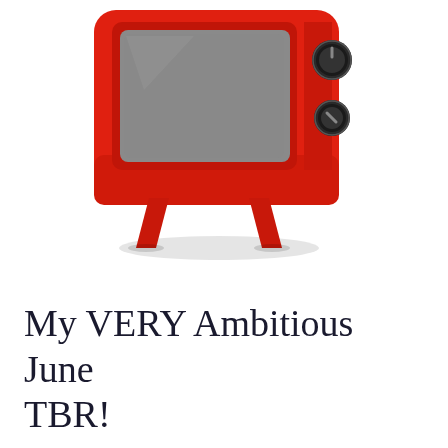[Figure (illustration): A retro-style red television set with a grey screen, knobs on the right side, and angled legs, shown from a slightly elevated front angle on a white background.]
My VERY Ambitious June TBR!